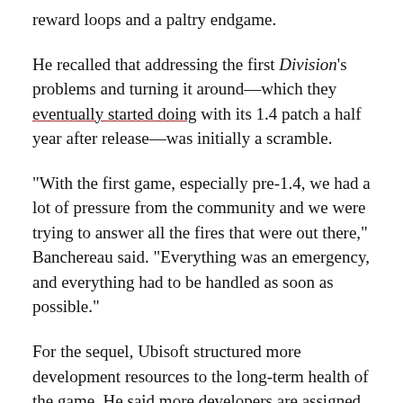reward loops and a paltry endgame.
He recalled that addressing the first Division's problems and turning it around—which they eventually started doing with its 1.4 patch a half year after release—was initially a scramble.
“With the first game, especially pre-1.4, we had a lot of pressure from the community and we were trying to answer all the fires that were out there,” Banchereau said. “Everything was an emergency, and everything had to be handled as soon as possible.”
For the sequel, Ubisoft structured more development resources to the long-term health of the game. He said more developers are assigned to keeping the sequel running well post-launch. “It’s in the work pipeline of the dev team,” he said.